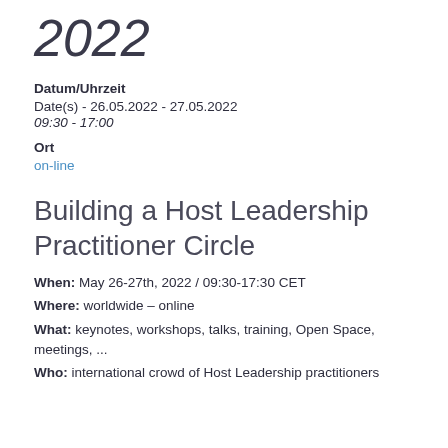2022
Datum/Uhrzeit
Date(s) - 26.05.2022 - 27.05.2022
09:30 - 17:00
Ort
on-line
Building a Host Leadership Practitioner Circle
When: May 26-27th, 2022 / 09:30-17:30 CET
Where: worldwide – online
What: keynotes, workshops, talks, training, Open Space, meetings, ...
Who: international crowd of Host Leadership practitioners